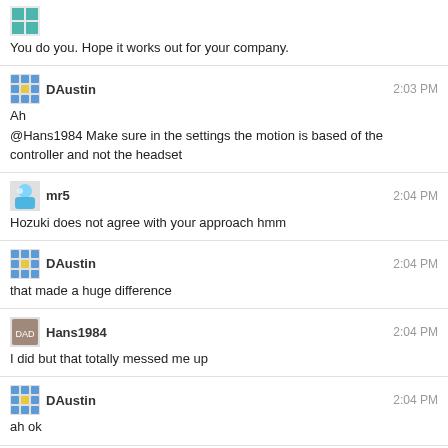You do you. Hope it works out for your company.
DAustin 2:03 PM
Ah
@Hans1984 Make sure in the settings the motion is based of the controller and not the headset
mr5 2:04 PM
Hozuki does not agree with your approach hmm
DAustin 2:04 PM
that made a huge difference
Hans1984 2:04 PM
I did but that totally messed me up
DAustin 2:04 PM
ah ok
Hans1984 2:04 PM
but i can change it to "transport" instead of "free walking" and it states that it has higher comfort
DAustin 2:04 PM
@mr5 Well he's obviously underqualified, of course he's gonna get defensive
Hans1984 2:04 PM
I think i ll do that